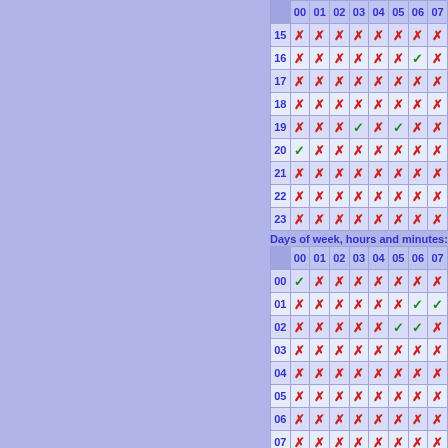|  | 00 | 01 | 02 | 03 | 04 | 05 | 06 | 07 |
| --- | --- | --- | --- | --- | --- | --- | --- | --- |
| 15 | ✗ | ✗ | ✗ | ✗ | ✗ | ✗ | ✗ | ✗ |
| 16 | ✗ | ✗ | ✗ | ✗ | ✗ | ✗ | ✓ | ✗ |
| 17 | ✗ | ✗ | ✗ | ✗ | ✗ | ✗ | ✗ | ✗ |
| 18 | ✗ | ✗ | ✗ | ✗ | ✗ | ✗ | ✗ | ✗ |
| 19 | ✗ | ✗ | ✗ | ✓ | ✗ | ✓ | ✗ | ✗ |
| 20 | ✓ | ✗ | ✗ | ✗ | ✗ | ✗ | ✗ | ✗ |
| 21 | ✗ | ✗ | ✗ | ✗ | ✗ | ✗ | ✗ | ✗ |
| 22 | ✗ | ✗ | ✗ | ✗ | ✗ | ✗ | ✗ | ✗ |
| 23 | ✗ | ✗ | ✗ | ✗ | ✗ | ✗ | ✗ | ✗ |
Days of week, hours and minutes:
|  | 00 | 01 | 02 | 03 | 04 | 05 | 06 | 07 |
| --- | --- | --- | --- | --- | --- | --- | --- | --- |
| 00 | ✓ | ✗ | ✗ | ✗ | ✗ | ✗ | ✗ | ✗ |
| 01 | ✗ | ✗ | ✗ | ✗ | ✗ | ✗ | ✓ | ✓ |
| 02 | ✗ | ✗ | ✗ | ✗ | ✗ | ✓ | ✓ | ✗ |
| 03 | ✗ | ✗ | ✗ | ✗ | ✗ | ✗ | ✗ | ✗ |
| 04 | ✗ | ✗ | ✗ | ✗ | ✗ | ✗ | ✗ | ✗ |
| 05 | ✗ | ✗ | ✗ | ✗ | ✗ | ✗ | ✗ | ✗ |
| 06 | ✗ | ✗ | ✗ | ✗ | ✗ | ✗ | ✗ | ✗ |
| 07 | ✗ | ✗ | ✗ | ✗ | ✗ | ✗ | ✗ | ✗ |
| 08 | ✗ | ✗ | ✗ | ✗ | ✗ | ✗ | ✗ | ✗ |
| 09 | ✗ | ✗ | ✗ | ✗ | ✗ | ✗ | ✓ | ✓ |
| 10 | ✗ | ✗ | ✗ | ✗ | ✗ | ✗ | ✗ | ✗ |
| 11 | ✗ | ✓ | ✓ | ✓ | ✓ | ✗ | ✗ | ✗ |